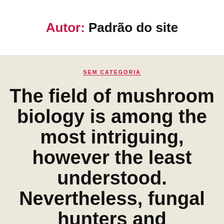Autor: Padrão do site
SEM CATEGORIA
The field of mushroom biology is among the most intriguing, however the least understood. Nevertheless, fungal hunters and enthusiasts